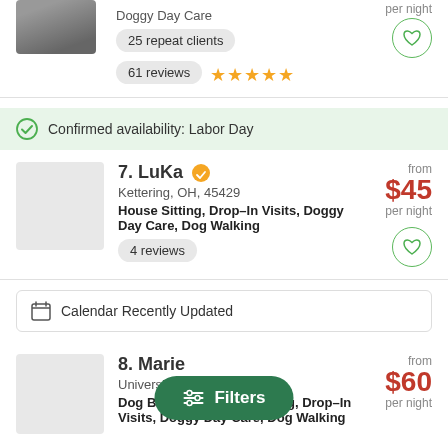Doggy Day Care
25 repeat clients
61 reviews ★★★★★
Confirmed availability: Labor Day
7. LuKa
Kettering, OH, 45429
House Sitting, Drop–In Visits, Doggy Day Care, Dog Walking
from $45 per night
4 reviews
Calendar Recently Updated
8. Marie
University ... 09
Dog Boarding, House Sitting, Drop–In Visits, Doggy Day Care, Dog Walking
from $60 per night
Filters